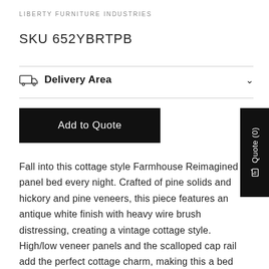LIBERTY FURNITURE INDUSTRIES
SKU 652YBRTPB
Delivery Area
Add to Quote
Fall into this cottage style Farmhouse Reimagined panel bed every night. Crafted of pine solids and hickory and pine veneers, this piece features an antique white finish with heavy wire brush distressing, creating a vintage cottage style. High/low veneer panels and the scalloped cap rail add the perfect cottage charm, making this a bed that can work at your beach house or downtown studio. Bolt